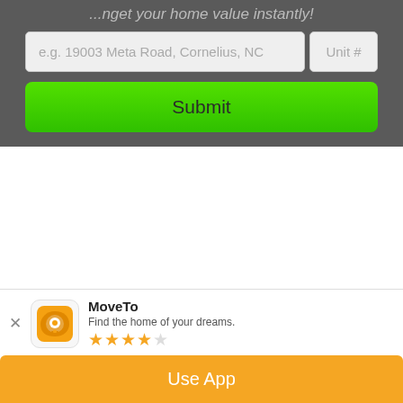...get your home value instantly!
e.g. 19003 Meta Road, Cornelius, NC
Unit #
Submit
Mortgage Calculator
MoveTo
Find the home of your dreams.
★★★★☆
Use App